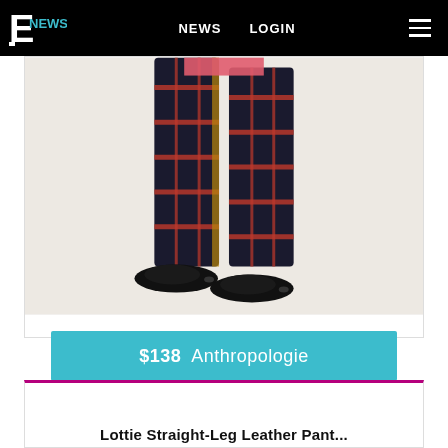E! NEWS   NEWS   LOGIN
[Figure (photo): Model's lower body wearing dark plaid/tartan trousers with red and navy pattern, paired with black flat shoes, against a light beige background.]
$138  Anthropologie
Lottie Straight-Leg Leather Pant...